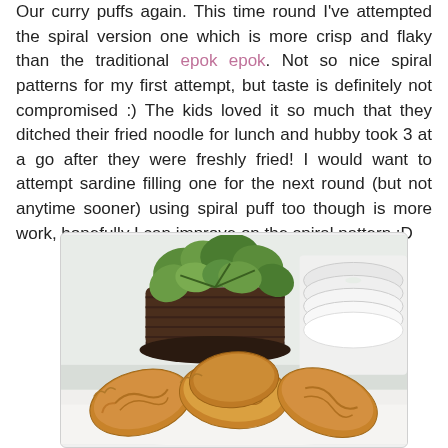Our curry puffs again. This time round I've attempted the spiral version one which is more crisp and flaky than the traditional epok epok. Not so nice spiral patterns for my first attempt, but taste is definitely not compromised :) The kids loved it so much that they ditched their fried noodle for lunch and hubby took 3 at a go after they were freshly fried! I would want to attempt sardine filling one for the next round (but not anytime sooner) using spiral puff too though is more work, hopefully I can improve on the spiral pattern :D
[Figure (photo): Photo of golden-brown spiral curry puffs on a white plate, with a dark brown ribbed plant pot containing green succulent plants in the background, and white stacked plates to the right.]